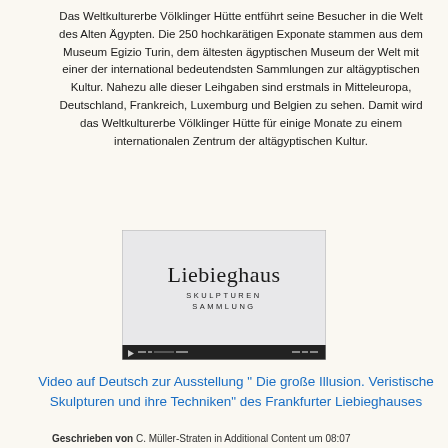Das Weltkulturerbe Völklinger Hütte entführt seine Besucher in die Welt des Alten Ägypten. Die 250 hochkarätigen Exponate stammen aus dem Museum Egizio Turin, dem ältesten ägyptischen Museum der Welt mit einer der international bedeutendsten Sammlungen zur altägyptischen Kultur. Nahezu alle dieser Leihgaben sind erstmals in Mitteleuropa, Deutschland, Frankreich, Luxemburg und Belgien zu sehen. Damit wird das Weltkulturerbe Völklinger Hütte für einige Monate zu einem internationalen Zentrum der altägyptischen Kultur.
[Figure (screenshot): Screenshot of a video player showing the Liebieghaus Skulpturen Sammlung logo on a light grey background, with a dark video control bar at the bottom.]
Video auf Deutsch zur Ausstellung " Die große Illusion. Veristische Skulpturen und ihre Techniken" des Frankfurter Liebieghauses
Geschrieben von C. Müller-Straten in Additional Content um 08:07